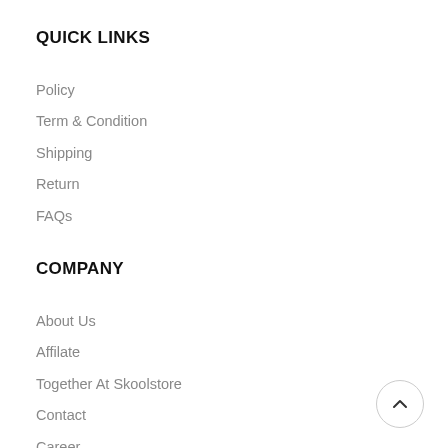QUICK LINKS
Policy
Term & Condition
Shipping
Return
FAQs
COMPANY
About Us
Affilate
Together At Skoolstore
Contact
Career